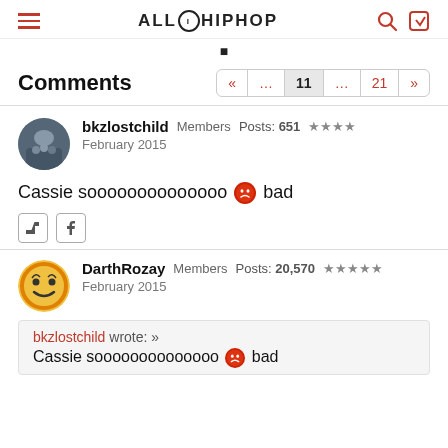ALLHIPHOP
Comments
bkzlostchild  Members  Posts: 651  ★★★★  February 2015
Cassie soooooooooooooo 😡 bad
DarthRozay  Members  Posts: 20,570  ★★★★★  February 2015
bkzlostchild wrote: »
Cassie soooooooooooooo 😡 bad